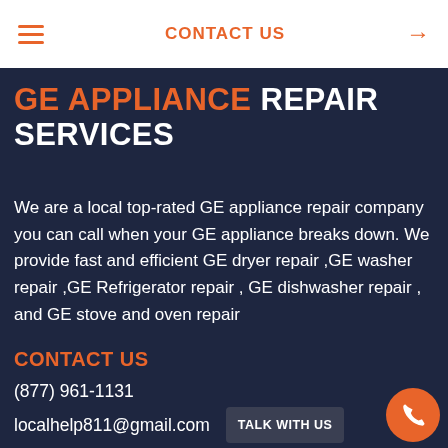≡  CONTACT US →
GE APPLIANCE REPAIR SERVICES
We are a local top-rated GE appliance repair company you can call when your GE appliance breaks down. We provide fast and efficient GE dryer repair ,GE washer repair ,GE Refrigerator repair , GE dishwasher repair , and GE stove and oven repair
CONTACT US
(877) 961-1131
localhelp811@gmail.com
Mon - Sat : 8AM - 6PM